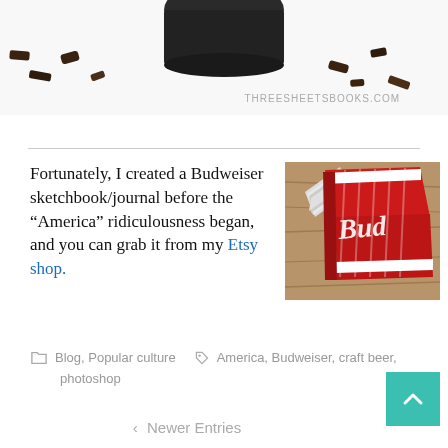[Figure (photo): Partial view of a dark cup/mug with chocolate crumbs, website watermark THREESHEETSBOOKS.COM in grey text]
Fortunately, I created a Budweiser sketchbook/journal before the “America” ridiculousness began, and you can grab it from my Etsy shop.
[Figure (photo): A Budweiser-branded sketchbook/journal with red and white design, pages fanned out, sitting on a wooden surface]
Blog, Popular culture • America, Budweiser, craft beer, photoshop
< Newer Entries